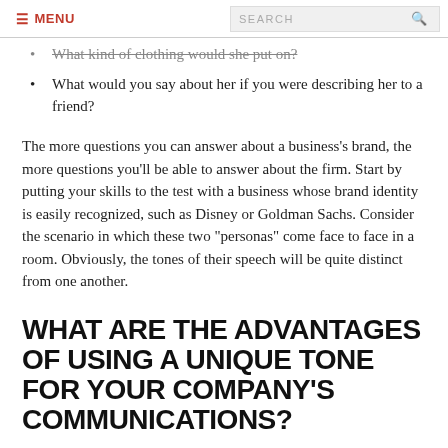≡ MENU   SEARCH
What kind of clothing would she put on?
What would you say about her if you were describing her to a friend?
The more questions you can answer about a business's brand, the more questions you'll be able to answer about the firm. Start by putting your skills to the test with a business whose brand identity is easily recognized, such as Disney or Goldman Sachs. Consider the scenario in which these two "personas" come face to face in a room. Obviously, the tones of their speech will be quite distinct from one another.
WHAT ARE THE ADVANTAGES OF USING A UNIQUE TONE FOR YOUR COMPANY'S COMMUNICATIONS?